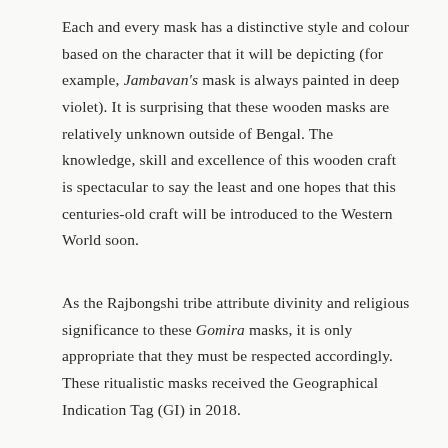Each and every mask has a distinctive style and colour based on the character that it will be depicting (for example, Jambavan's mask is always painted in deep violet). It is surprising that these wooden masks are relatively unknown outside of Bengal. The knowledge, skill and excellence of this wooden craft is spectacular to say the least and one hopes that this centuries-old craft will be introduced to the Western World soon.
As the Rajbongshi tribe attribute divinity and religious significance to these Gomira masks, it is only appropriate that they must be respected accordingly. These ritualistic masks received the Geographical Indication Tag (GI) in 2018.